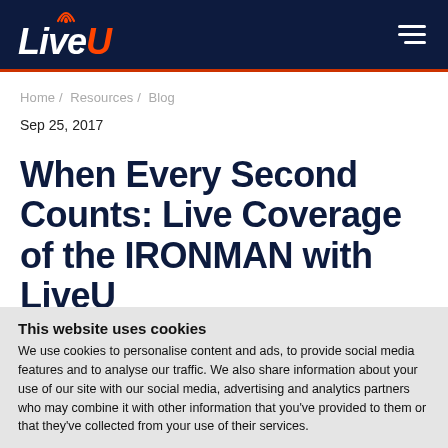LiveU
Home / Resources / Blog
Sep 25, 2017
When Every Second Counts: Live Coverage of the IRONMAN with LiveU
This website uses cookies
We use cookies to personalise content and ads, to provide social media features and to analyse our traffic. We also share information about your use of our site with our social media, advertising and analytics partners who may combine it with other information that you've provided to them or that they've collected from your use of their services.